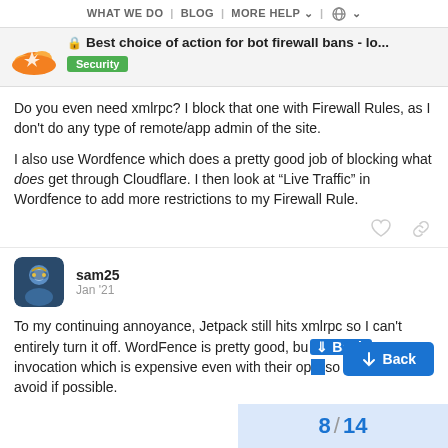WHAT WE DO | BLOG | MORE HELP | (globe)
Best choice of action for bot firewall bans - lo...
Security
Do you even need xmlrpc? I block that one with Firewall Rules, as I don't do any type of remote/app admin of the site.

I also use Wordfence which does a pretty good job of blocking what does get through Cloudflare. I then look at "Live Traffic" in Wordfence to add more restrictions to my Firewall Rule.
sam25  Jan '21
To my continuing annoyance, Jetpack still hits xmlrpc so I can't entirely turn it off. WordFence is pretty good, but it utilizes PHP invocation which is expensive even with their op... so I'd rather avoid if possible.
8 / 14